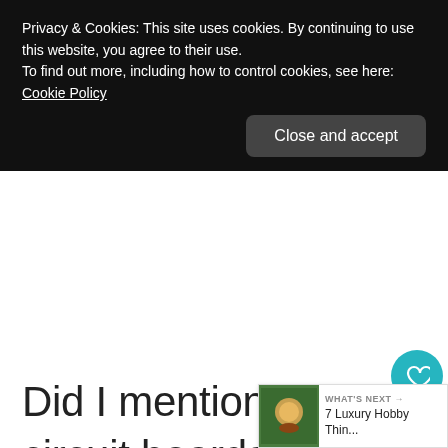Privacy & Cookies: This site uses cookies. By continuing to use this website, you agree to their use.
To find out more, including how to control cookies, see here: Cookie Policy
Close and accept
Did I mention you can cut through plywood, circuit boards, rubber, MDF, leather, and perhaps much more? want to clean up your 3D resin or PLA
1
WHAT'S NEXT → 7 Luxury Hobby Thin...